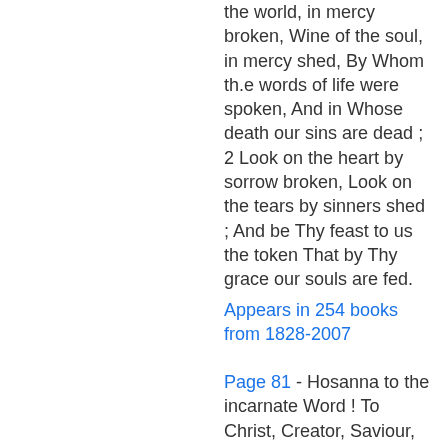the world, in mercy broken, Wine of the soul, in mercy shed, By Whom th.e words of life were spoken, And in Whose death our sins are dead ; 2 Look on the heart by sorrow broken, Look on the tears by sinners shed ; And be Thy feast to us the token That by Thy grace our souls are fed.
Appears in 254 books from 1828-2007
Page 81 - Hosanna to the incarnate Word ! To Christ, Creator, Saviour, King, Let earth, let heaven, hosanna sing. 2 " Hosanna, Lord ! " thine angels cry. " Hosanna, Lord ! " thy saints reply; Above, beneath us, and